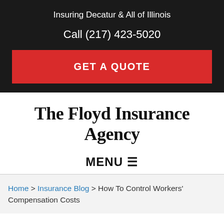Insuring Decatur & All of Illinois
Call (217) 423-5020
GET A QUOTE
The Floyd Insurance Agency
MENU ☰
Home > Insurance Blog > How To Control Workers' Compensation Costs